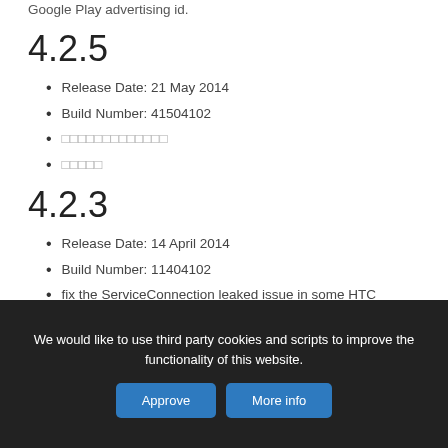Google Play advertising id.
4.2.5
Release Date: 21 May 2014
Build Number: 41504102
□□□□□□□□□□□□□
□□□□□
4.2.3
Release Date: 14 April 2014
Build Number: 11404102
fix the ServiceConnection leaked issue in some HTC devices
We would like to use third party cookies and scripts to improve the functionality of this website.